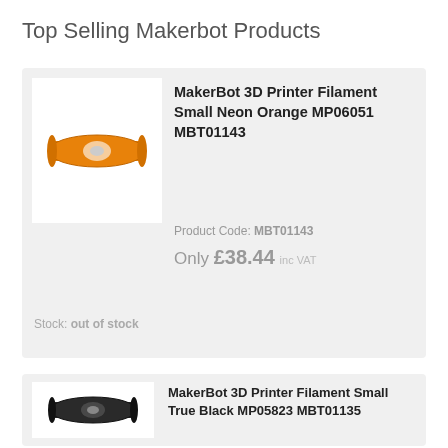Top Selling Makerbot Products
MakerBot 3D Printer Filament Small Neon Orange MP06051 MBT01143
Product Code: MBT01143
Only £38.44 inc VAT
Stock: out of stock
MakerBot 3D Printer Filament Small True Black MP05823 MBT01135